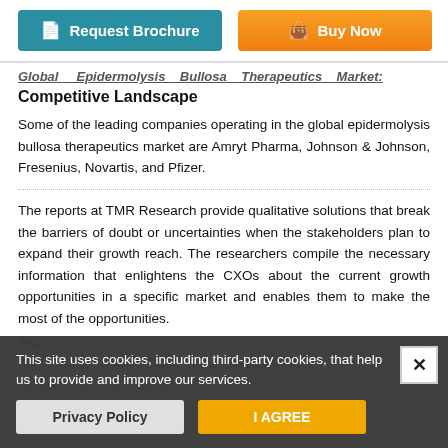[Figure (screenshot): Two buttons: 'Request Brochure' (teal/blue) and 'Buy Now' (orange gradient)]
Global Epidermolysis Bullosa Therapeutics Market: Competitive Landscape
Some of the leading companies operating in the global epidermolysis bullosa therapeutics market are Amryt Pharma, Johnson & Johnson, Fresenius, Novartis, and Pfizer.
The reports at TMR Research provide qualitative solutions that break the barriers of doubt or uncertainties when the stakeholders plan to expand their growth reach. The researchers compile the necessary information that enlightens the CXOs about the current growth opportunities in a specific market and enables them to make the most of the opportunities.
The researchers at TMR Research... makes the report... TMR Research reports help the... CXOs... thoughtful
This site uses cookies, including third-party cookies, that help us to provide and improve our services.